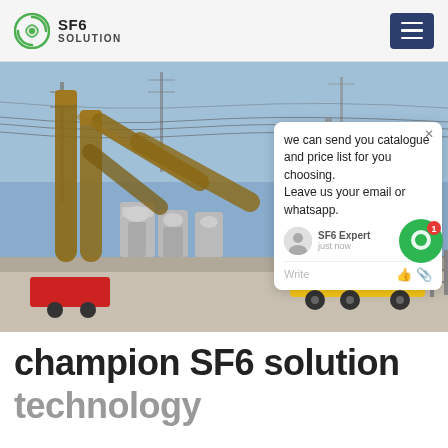SF6 SOLUTION
[Figure (photo): Photograph of a high-voltage electrical substation with SF6 gas-insulated switchgear equipment, tall cylindrical insulators, overhead transmission lines and towers, and a yellow service truck in the foreground. A live chat popup overlay reads: 'we can send you catalogue and price list for you choosing. Leave us your email or whatsapp.' from SF6 Expert, just now.]
champion SF6 solution technology